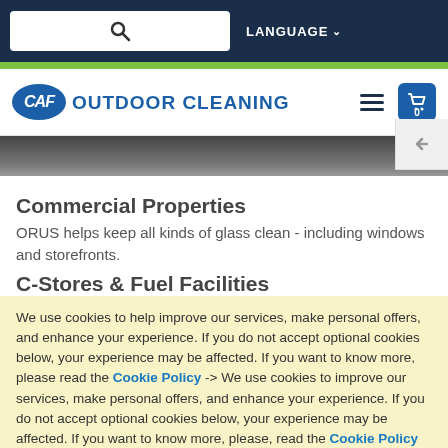Search | LANGUAGE
[Figure (logo): CAF Outdoor Cleaning logo with oval CAF badge and brand name, hamburger menu, and cart icon]
[Figure (photo): Partial photo strip of outdoor cleaning equipment]
Commercial Properties
ORUS helps keep all kinds of glass clean - including windows and storefronts.
C-Stores & Fuel Facilities
We use cookies to help improve our services, make personal offers, and enhance your experience. If you do not accept optional cookies below, your experience may be affected. If you want to know more, please read the Cookie Policy -> We use cookies to improve our services, make personal offers, and enhance your experience. If you do not accept optional cookies below, your experience may be affected. If you want to know more, please, read the Cookie Policy
Allow Cookies | Cookies Settings